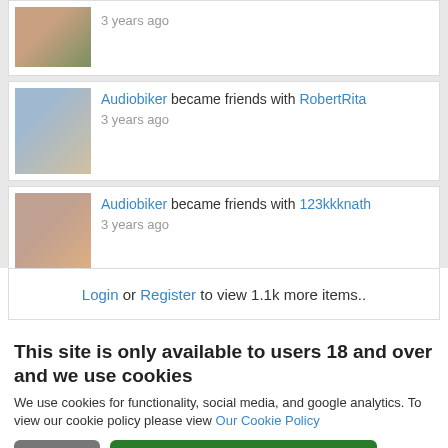3 years ago
Audiobiker became friends with RobertRita
3 years ago
Audiobiker became friends with 123kkknath
3 years ago
Login or Register to view 1.1k more items..
This site is only available to users 18 and over and we use cookies
We use cookies for functionality, social media, and google analytics. To view our cookie policy please view Our Cookie Policy
Leave
I'm 18+ and Accept Cookies